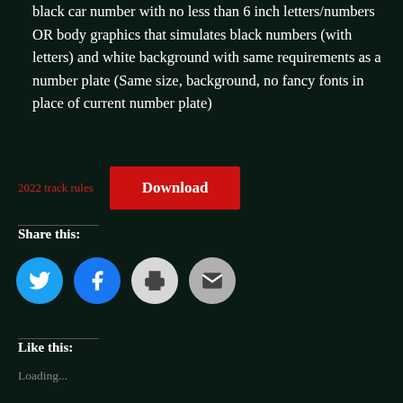black car number with no less than 6 inch letters/numbers OR body graphics that simulates black numbers (with letters) and white background with same requirements as a number plate (Same size, background, no fancy fonts in place of current number plate)
2022 track rules
Download
Share this:
[Figure (other): Social share icons: Twitter (blue circle), Facebook (blue circle), Print (gray circle), Email (gray circle)]
Like this:
Loading...